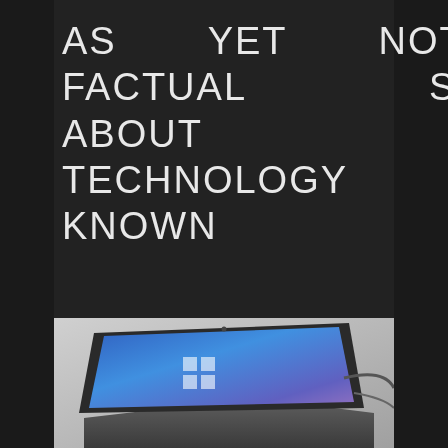AS YET NOT KNOWN FACTUAL STATEMENTS ABOUT COMPUTER TECHNOLOGY MADE KNOWN
May 30, 2022  Maya Wesser  Computer  0 Comment  computer  technology
[Figure (photo): Laptop computer with blue Windows desktop screen, viewed from above at an angle, on a light desk surface.]